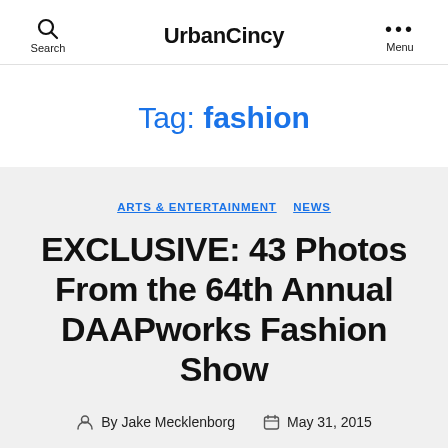Search  UrbanCincy  ••• Menu
Tag: fashion
ARTS & ENTERTAINMENT  NEWS
EXCLUSIVE: 43 Photos From the 64th Annual DAAPworks Fashion Show
By Jake Mecklenborg  May 31, 2015